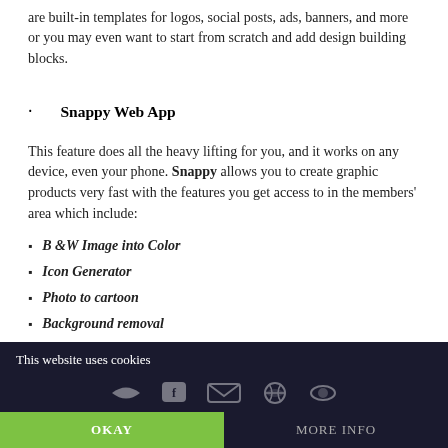are built-in templates for logos, social posts, ads, banners, and more or you may even want to start from scratch and add design building blocks.
Snappy Web App
This feature does all the heavy lifting for you, and it works on any device, even your phone. Snappy allows you to create graphic products very fast with the features you get access to in the members' area which include:
B &W Image into Color
Icon Generator
Photo to cartoon
Background removal
This website uses cookies
OKAY
MORE INFO